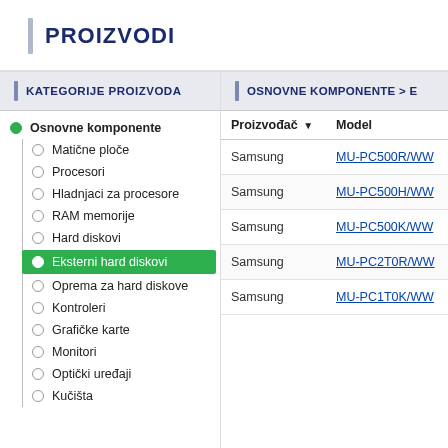PROIZVODI
KATEGORIJE PROIZVODA
Osnovne komponente
Matične ploče
Procesori
Hladnjaci za procesore
RAM memorije
Hard diskovi
Eksterni hard diskovi
Oprema za hard diskove
Kontroleri
Grafičke karte
Monitori
Optički uređaji
Kučišta
OSNOVNE KOMPONENTE > E
| Proizvođač ▼ | Model |
| --- | --- |
| Samsung | MU-PC500R/WW |
| Samsung | MU-PC500H/WW |
| Samsung | MU-PC500K/WW |
| Samsung | MU-PC2T0R/WW |
| Samsung | MU-PC1T0K/WW |